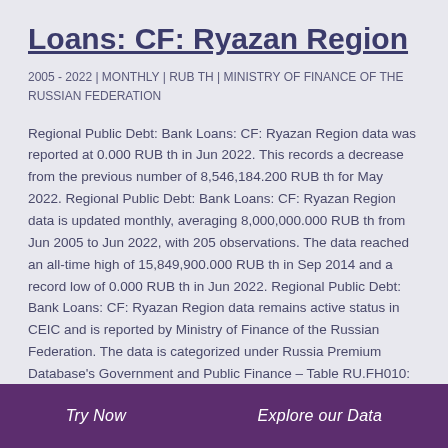Loans: CF: Ryazan Region
2005 - 2022 | MONTHLY | RUB TH | MINISTRY OF FINANCE OF THE RUSSIAN FEDERATION
Regional Public Debt: Bank Loans: CF: Ryazan Region data was reported at 0.000 RUB th in Jun 2022. This records a decrease from the previous number of 8,546,184.200 RUB th for May 2022. Regional Public Debt: Bank Loans: CF: Ryazan Region data is updated monthly, averaging 8,000,000.000 RUB th from Jun 2005 to Jun 2022, with 205 observations. The data reached an all-time high of 15,849,900.000 RUB th in Sep 2014 and a record low of 0.000 RUB th in Jun 2022. Regional Public Debt: Bank Loans: CF: Ryazan Region data remains active status in CEIC and is reported by Ministry of Finance of the Russian Federation. The data is categorized under Russia Premium Database’s Government and Public Finance – Table RU.FH010: Regional Public Debt.
Try Now   Explore our Data